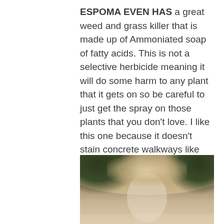ESPOMA EVEN HAS a great weed and grass killer that is made up of Ammoniated soap of fatty acids. This is not a selective herbicide meaning it will do some harm to any plant that it gets on so be careful to just get the spray on those plants that you don't love. I like this one because it doesn't stain concrete walkways like some of the synthetics will. Make sure you have at least a three hour window that it doesn't rain so it can enter the weed. I like to use this one on my mulched areas where a weed or two sneaks in.
[Figure (photo): Outdoor sepia-toned photograph showing trees and foliage with light filtering through, partially visible at the bottom of the page.]